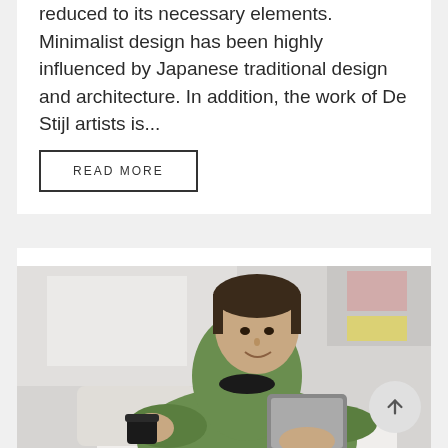reduced to its necessary elements. Minimalist design has been highly influenced by Japanese traditional design and architecture. In addition, the work of De Stijl artists is...
READ MORE
[Figure (photo): A young man in a green sweater sitting at a cafe table, holding a coffee cup and looking at a tablet device. Blurred background showing a cafe/street scene.]